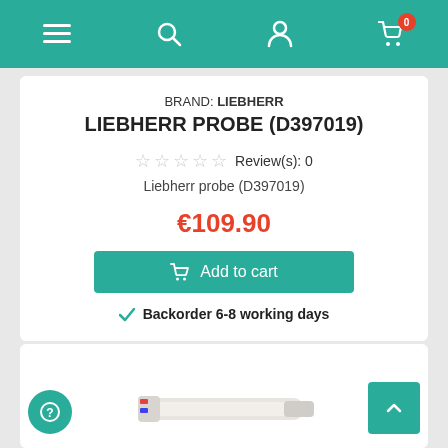Navigation bar with menu, search, account, and cart icons
BRAND: LIEBHERR
LIEBHERR PROBE (D397019)
Review(s): 0
Liebherr probe (D397019)
€109.90
Add to cart
Backorder 6-8 working days
[Figure (photo): Partial view of Liebherr probe cable with white casing and colored wires (red and blue)]